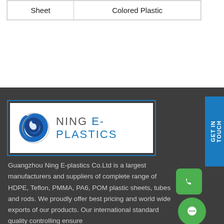| Sheet | Colored Plastic |
[Figure (logo): Ning E-Plastics company logo with circular blue and silver icon and text 'NING E-PLASTICS']
Guangzhou Ning E-plastics Co.Ltd is a largest manufacturers and suppliers of complete range of HDPE, Teflon, PMMA, PA6, POM plastic sheets, tubes and rods. We proudly offer best pricing and world wide exports of our products. Our international standard quality controlling ensure